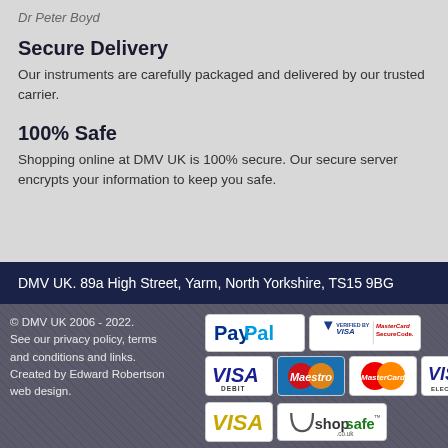Dr Peter Boyd
Secure Delivery
Our instruments are carefully packaged and delivered by our trusted carrier.
100% Safe
Shopping online at DMV UK is 100% secure. Our secure server encrypts your information to keep you safe.
DMV UK. 89a High Street, Yarm, North Yorkshire, TS15 9BG
© DMV UK 2006 - 2022. See our privacy policy, terms and conditions and links. Created by Edward Robertson web design.
[Figure (logo): PayPal payment logo]
[Figure (logo): Verified by Visa / MasterCard SecureCode logo]
[Figure (logo): VISA Debit logo]
[Figure (logo): Maestro logo]
[Figure (logo): MasterCard logo]
[Figure (logo): VISA Electron logo]
[Figure (logo): VISA logo]
[Figure (logo): ShopSafe logo]